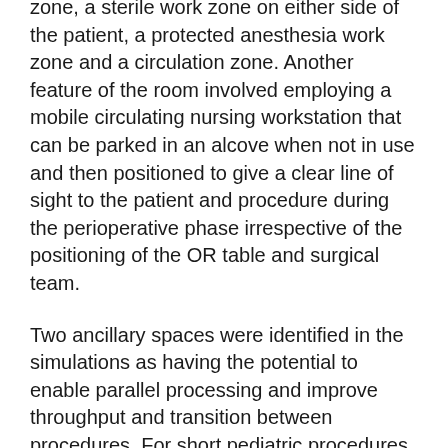zone, a sterile work zone on either side of the patient, a protected anesthesia work zone and a circulation zone. Another feature of the room involved employing a mobile circulating nursing workstation that can be parked in an alcove when not in use and then positioned to give a clear line of sight to the patient and procedure during the perioperative phase irrespective of the positioning of the OR table and surgical team.
Two ancillary spaces were identified in the simulations as having the potential to enable parallel processing and improve throughput and transition between procedures. For short pediatric procedures, an induction room was introduced and tested. Given induction typically takes longer than the procedure itself, this allowed one patient to begin induction while another was still in the OR.
Since induction can be stressful for pediatric patients,